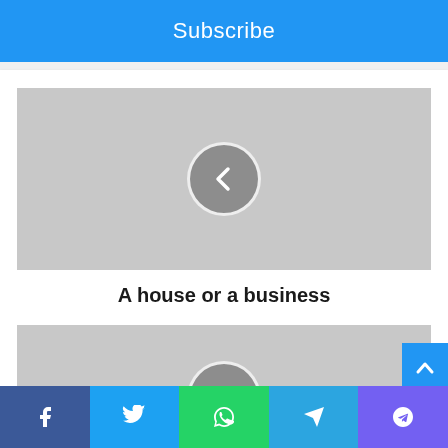Subscribe
[Figure (illustration): Gray placeholder image with left navigation arrow circle button in center]
A house or a business
[Figure (illustration): Gray placeholder image with right navigation arrow circle button at bottom center]
Facebook | Twitter | WhatsApp | Telegram | Viber social share buttons